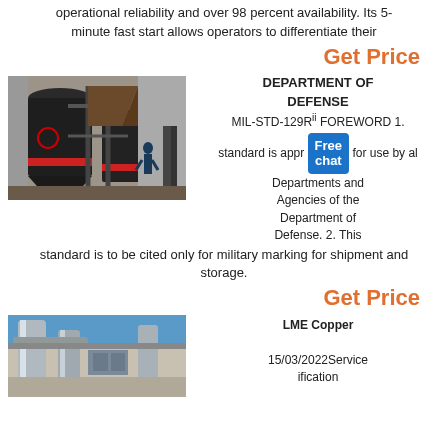operational reliability and over 98 percent availability. Its 5-minute fast start allows operators to differentiate their
Get Price
[Figure (photo): Industrial equipment photo showing large dark cylindrical mill machines in an outdoor industrial setting, worker visible]
DEPARTMENT OF DEFENSE MIL-STD-129R FOREWORD 1. This standard is approved for use by all Departments and Agencies of the Department of Defense. 2. This standard is to be cited only for military marking for shipment and storage.
Get Price
[Figure (photo): Industrial equipment photo showing metal pipes and silos against a blue sky background]
LME Copper
15/03/2022Service specification